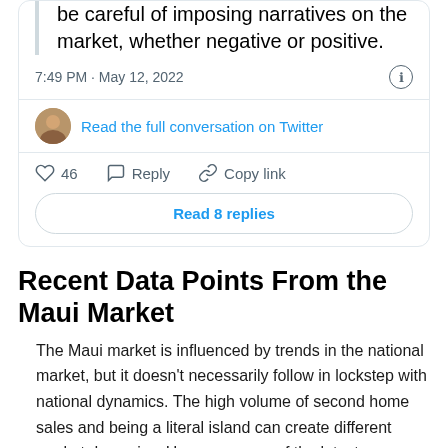[Figure (screenshot): Tweet card showing partial tweet text 'be careful of imposing narratives on the market, whether negative or positive.' with timestamp '7:49 PM · May 12, 2022', a 'Read the full conversation on Twitter' link with avatar, like count 46, Reply, Copy link actions, and a 'Read 8 replies' button.]
Recent Data Points From the Maui Market
The Maui market is influenced by trends in the national market, but it doesn't necessarily follow in lockstep with national dynamics. The high volume of second home sales and being a literal island can create different market dynamics. Here are some of the latest